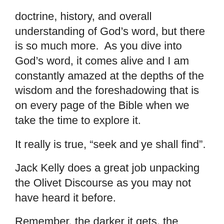doctrine, history, and overall understanding of God’s word, but there is so much more.  As you dive into God’s word, it comes alive and I am constantly amazed at the depths of the wisdom and the foreshadowing that is on every page of the Bible when we take the time to explore it.
It really is true, “seek and ye shall find”.
Jack Kelly does a great job unpacking the Olivet Discourse as you may not have heard it before.
Remember, the darker it gets, the brighter and farther our little light shines!
Maranatha, Lord come quickly!
myblessedhope